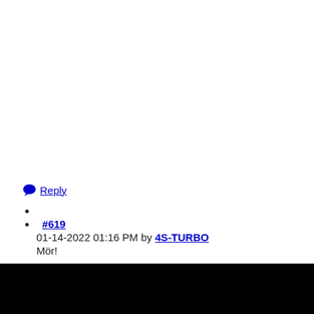💬 Reply
#619
01-14-2022 01:16 PM by 4S-TURBO
Mör!